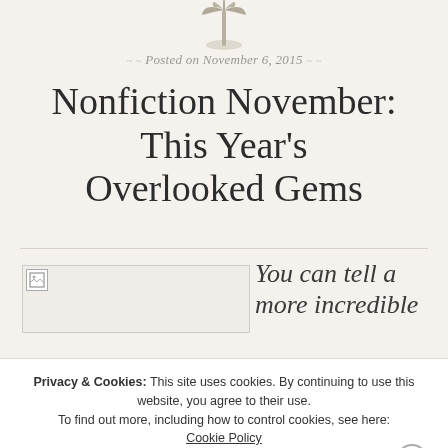[Figure (illustration): Palm tree / leaf decorative icon at top center of blog page]
Posted on November 6, 2015
Nonfiction November: This Year's Overlooked Gems
[Figure (photo): Broken/missing image placeholder on left side of content area]
You can tell a more incredible
Privacy & Cookies: This site uses cookies. By continuing to use this website, you agree to their use. To find out more, including how to control cookies, see here: Cookie Policy
Close and accept